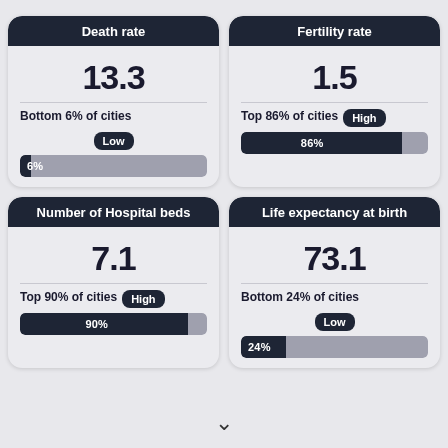[Figure (infographic): Four stat cards arranged in a 2x2 grid. Top-left: Death rate 13.3, Bottom 6% of cities, Low badge, 6% progress bar. Top-right: Fertility rate 1.5, Top 86% of cities, High badge, 86% progress bar. Bottom-left: Number of Hospital beds 7.1, Top 90% of cities, High badge, 90% progress bar. Bottom-right: Life expectancy at birth 73.1, Bottom 24% of cities, Low badge, 24% progress bar.]
▼